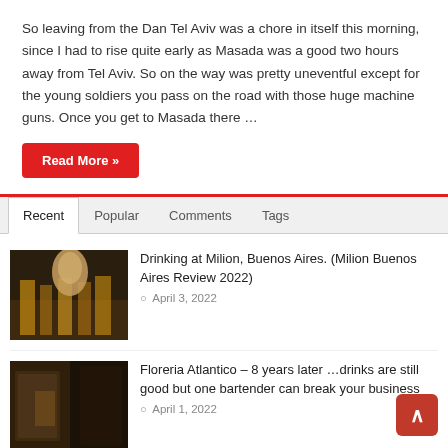So leaving from the Dan Tel Aviv was a chore in itself this morning, since I had to rise quite early as Masada was a good two hours away from Tel Aviv. So on the way was pretty uneventful except for the young soldiers you pass on the road with those huge machine guns. Once you get to Masada there …
Read More »
Recent | Popular | Comments | Tags
Drinking at Milion, Buenos Aires. (Milion Buenos Aires Review 2022)
April 3, 2022
Floreria Atlantico – 8 years later …drinks are still good but one bartender can break your business
April 1, 2022
Drinking at Tres Monos, Buenos Aires (Tres Monos Review 2022)